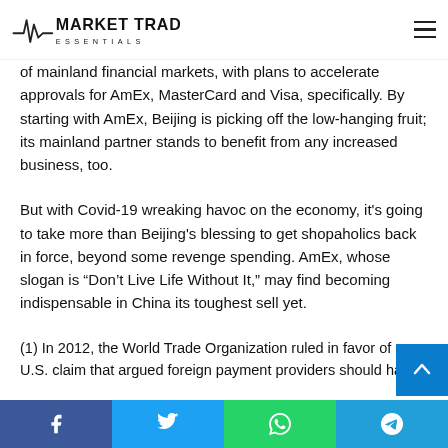Market Trading Essentials
of mainland financial markets, with plans to accelerate approvals for AmEx, MasterCard and Visa, specifically. By starting with AmEx, Beijing is picking off the low-hanging fruit; its mainland partner stands to benefit from any increased business, too.
But with Covid-19 wreaking havoc on the economy, it's going to take more than Beijing's blessing to get shopaholics back in force, beyond some revenge spending. AmEx, whose slogan is “Don’t Live Life Without It,” may find becoming indispensable in China its toughest sell yet.
(1) In 2012, the World Trade Organization ruled in favor of a U.S. claim that argued foreign payment providers should have